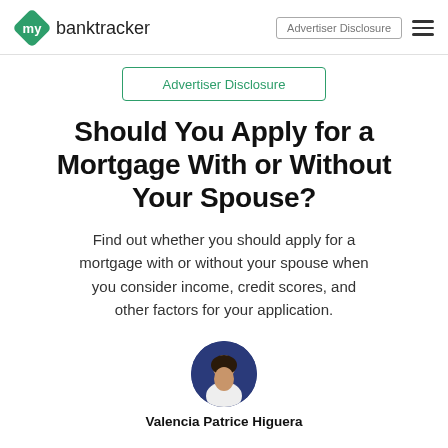mybanktracker | Advertiser Disclosure
Advertiser Disclosure
Should You Apply for a Mortgage With or Without Your Spouse?
Find out whether you should apply for a mortgage with or without your spouse when you consider income, credit scores, and other factors for your application.
[Figure (photo): Circular author photo of Valencia Patrice Higuera]
Valencia Patrice Higuera